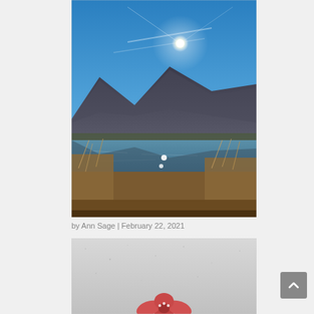[Figure (photo): Outdoor landscape photo showing a bright sun in a clear blue sky above dark mountains reflected in a calm lake, with dry golden-brown reeds and brush in the foreground. Sunlight sparkles on the water.]
by Ann Sage | February 22, 2021
[Figure (photo): Partial photo showing a pink/red flower lying on a snowy or sandy grey-white surface, only the top portion of the image is visible.]